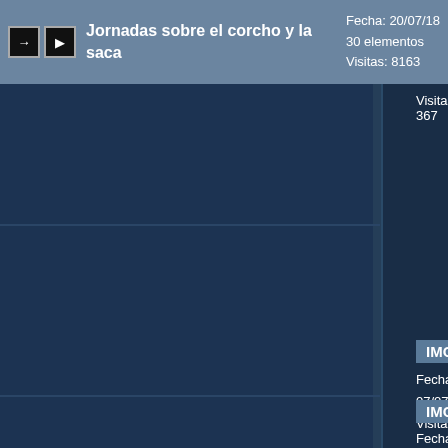Jornadas sobre el corcho y la saca | Fecha: 20/07/18 | 30 elementos | Visitas: 8163
Visitas: 367
IMG_0497
Fecha: 07/07/18
Visitas: 331
IMG_0482
Fecha: 07/07/18
Visitas: 333